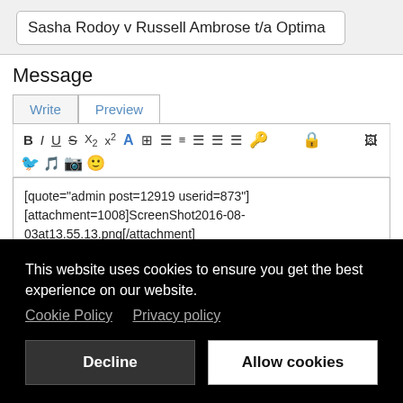Sasha Rodoy v Russell Ambrose t/a Optima
Message
[Figure (screenshot): Write/Preview tabs and text editor toolbar with formatting buttons (B, I, U, S, subscript, superscript, font color, list, indent, justify, emoji, lock icon, image icon) and social media icons (Twitter, SoundCloud, Instagram, smiley). Text area contains forum quote markup.]
[quote="admin post=12919 userid=873"]
[attachment=1008]ScreenShot2016-08-03at13.55.13.png[/attachment]
 :kiss:[/quote]
This website uses cookies to ensure you get the best experience on our website.
Cookie Policy    Privacy policy
Decline
Allow cookies